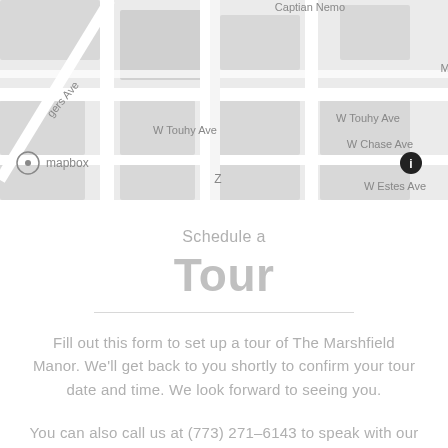[Figure (map): Street map showing W Touhy Ave, W Chase Ave, W Estes Ave, Captain Nemo, Rogers Ave, and a location marker Z, with Mapbox attribution. Light gray street map of a Chicago neighborhood grid.]
Schedule a Tour
Fill out this form to set up a tour of The Marshfield Manor. We'll get back to you shortly to confirm your tour date and time. We look forward to seeing you.
You can also call us at (773) 271–6143 to speak with our leasing team.